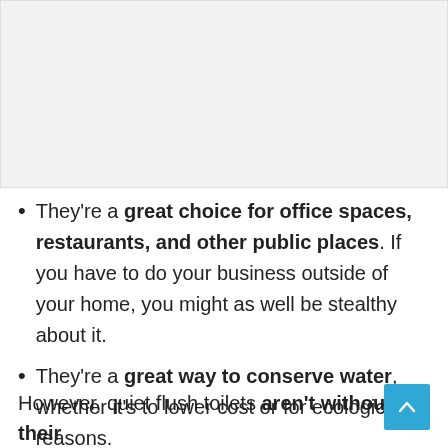[Figure (other): Placeholder image area at top of page]
They're a great choice for office spaces, restaurants, and other public places. If you have to do your business outside of your home, you might as well be stealthy about it.
They're a great way to conserve water, whether it's to lower cost or for ecological reasons.
However, quiet flush toilets aren't without their